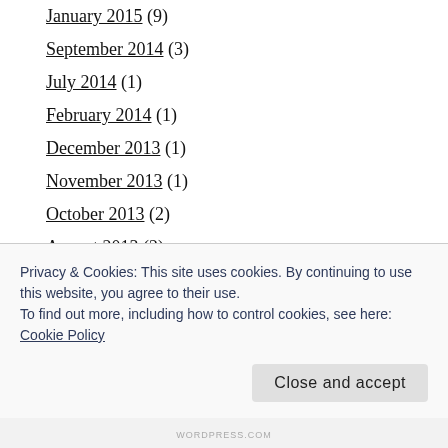January 2015 (9)
September 2014 (3)
July 2014 (1)
February 2014 (1)
December 2013 (1)
November 2013 (1)
October 2013 (2)
August 2013 (2)
July 2013 (1)
June 2013 (1)
Privacy & Cookies: This site uses cookies. By continuing to use this website, you agree to their use.
To find out more, including how to control cookies, see here: Cookie Policy
Close and accept
WORDPRESS.COM